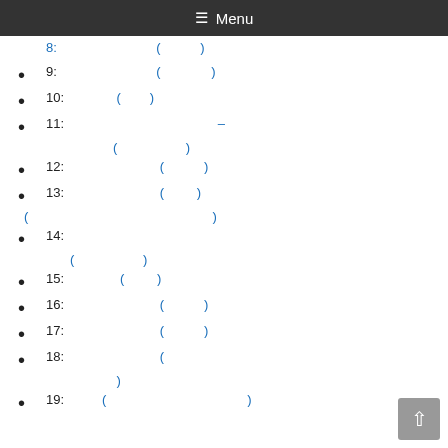≡ Menu
9: ( )
10: ( )
11: – ( )
12: ( )
13: ( ) ( )
14: ( )
15: ( )
16: ( )
17: ( )
18: ( )
19: ( )